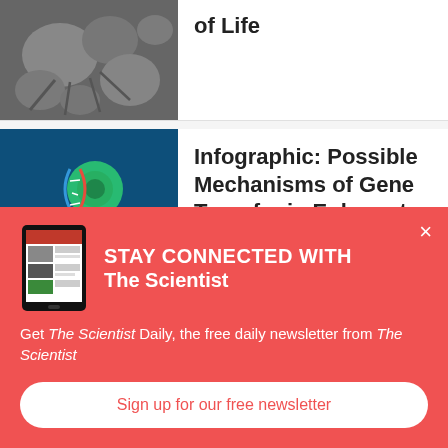[Figure (photo): Electron microscope grayscale image of microorganisms or cells]
of Life
[Figure (illustration): 3D illustration of gene transfer mechanism showing a DNA strand and cell-like structures in blue and green]
Infographic: Possible Mechanisms of Gene Transfer in Eukaryotes
[Figure (screenshot): Tablet device showing The Scientist magazine app]
STAY CONNECTED WITH The Scientist
Get The Scientist Daily, the free daily newsletter from The Scientist
Sign up for our free newsletter